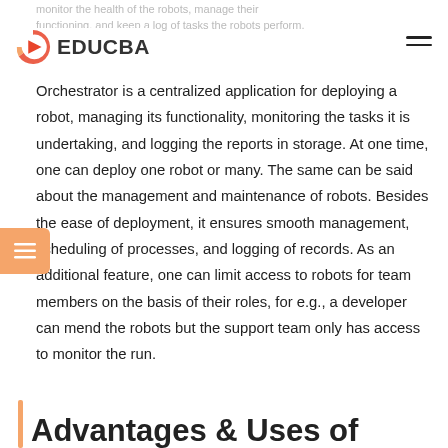monitor the health of the robots, manage their functioning, and keep a log of tasks the robots perform.
[Figure (logo): EDUCBA logo with orange play-button icon and bold text 'EDUCBA']
Orchestrator is a centralized application for deploying a robot, managing its functionality, monitoring the tasks it is undertaking, and logging the reports in storage. At one time, one can deploy one robot or many. The same can be said about the management and maintenance of robots. Besides the ease of deployment, it ensures smooth management, scheduling of processes, and logging of records. As an additional feature, one can limit access to robots for team members on the basis of their roles, for e.g., a developer can mend the robots but the support team only has access to monitor the run.
Advantages & Uses of